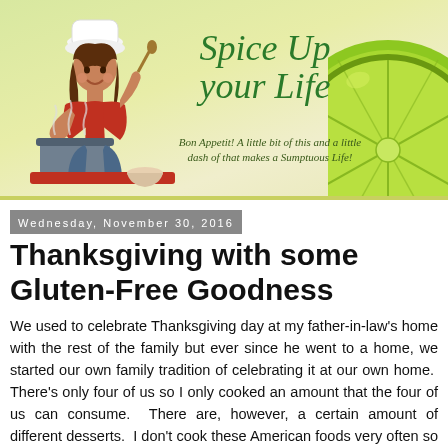[Figure (illustration): Blog header banner for 'Spice Up Your Life' food blog. Features a cartoon female chef with cooking pot on the left, stylized italic green script text 'Spice Up Your Life' in the center, a tagline 'Bon Appetit! A little bit of this and a little dash of that makes a Sumptuous Life!' and a lime slice illustration on the right. Background is a yellowish-green gradient.]
Wednesday, November 30, 2016
Thanksgiving with some Gluten-Free Goodness
We used to celebrate Thanksgiving day at my father-in-law's home with the rest of the family but ever since he went to a home, we started our own family tradition of celebrating it at our own home.  There's only four of us so I only cooked an amount that the four of us can consume.  There are, however, a certain amount of different desserts.  I don't cook these American foods very often so I prepared them for